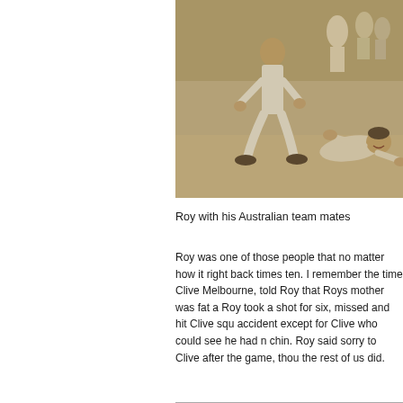[Figure (photo): Black and white sepia photograph of cricket players. One player in white cricket clothing is crouching/fielding, and another player is diving/sliding on the ground. Other players visible in the background.]
Roy with his Australian team mates
Roy was one of those people that no matter how it right back times ten. I remember the time Clive Melbourne, told Roy that Roys mother was fat a Roy took a shot for six, missed and hit Clive squ accident except for Clive who could see he had n chin. Roy said sorry to Clive after the game, thou the rest of us did.